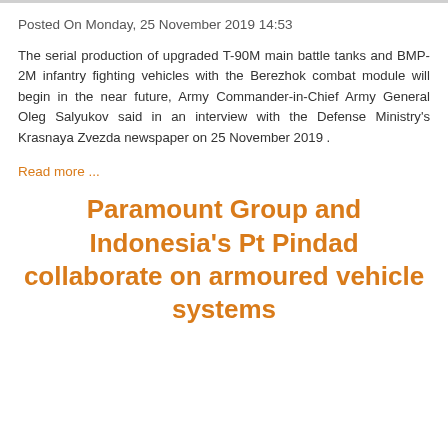Posted On Monday, 25 November 2019 14:53
The serial production of upgraded T-90M main battle tanks and BMP-2M infantry fighting vehicles with the Berezhok combat module will begin in the near future, Army Commander-in-Chief Army General Oleg Salyukov said in an interview with the Defense Ministry's Krasnaya Zvezda newspaper on 25 November 2019 .
Read more ...
Paramount Group and Indonesia's Pt Pindad collaborate on armoured vehicle systems